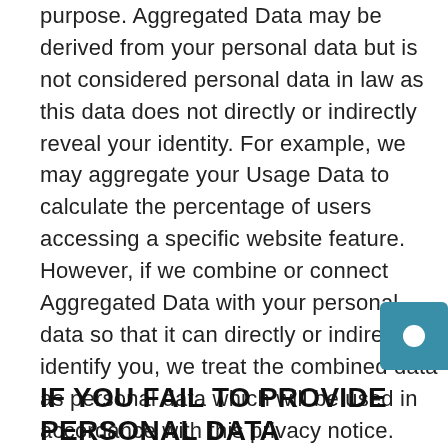purpose. Aggregated Data may be derived from your personal data but is not considered personal data in law as this data does not directly or indirectly reveal your identity. For example, we may aggregate your Usage Data to calculate the percentage of users accessing a specific website feature. However, if we combine or connect Aggregated Data with your personal data so that it can directly or indirectly identify you, we treat the combined data as personal data which will be used in accordance with this privacy notice.
IF YOU FAIL TO PROVIDE PERSONAL DATA